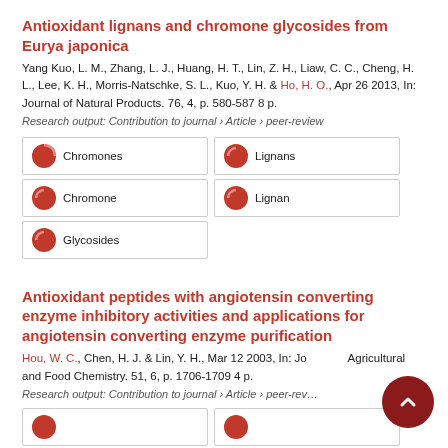Antioxidant lignans and chromone glycosides from Eurya japonica
Yang Kuo, L. M., Zhang, L. J., Huang, H. T., Lin, Z. H., Liaw, C. C., Cheng, H. L., Lee, K. H., Morris-Natschke, S. L., Kuo, Y. H. & Ho, H. O., Apr 26 2013, In: Journal of Natural Products. 76, 4, p. 580-587 8 p.
Research output: Contribution to journal › Article › peer-review
Chromones
Lignans
Chromone
Lignan
Glycosides
Antioxidant peptides with angiotensin converting enzyme inhibitory activities and applications for angiotensin converting enzyme purification
Hou, W. C., Chen, H. J. & Lin, Y. H., Mar 12 2003, In: Journal of Agricultural and Food Chemistry. 51, 6, p. 1706-1709 4 p.
Research output: Contribution to journal › Article › peer-review